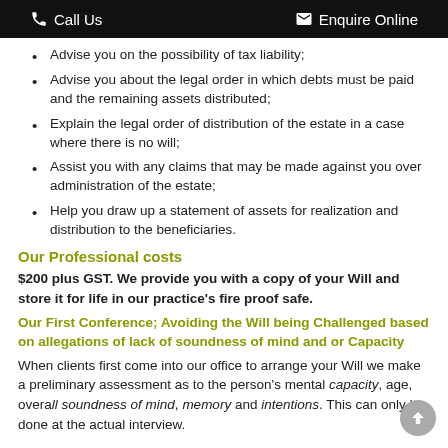Call Us  Enquire Online
Advise you on the possibility of tax liability;
Advise you about the legal order in which debts must be paid and the remaining assets distributed;
Explain the legal order of distribution of the estate in a case where there is no will;
Assist you with any claims that may be made against you over administration of the estate;
Help you draw up a statement of assets for realization and distribution to the beneficiaries.
Our Professional costs
$200 plus GST. We provide you with a copy of your Will and store it for life in our practice's fire proof safe.
Our First Conference; Avoiding the Will being Challenged based on allegations of lack of soundness of mind and or Capacity
When clients first come into our office to arrange your Will we make a preliminary assessment as to the person's mental capacity, age, overall soundness of mind, memory and intentions. This can only be done at the actual interview.